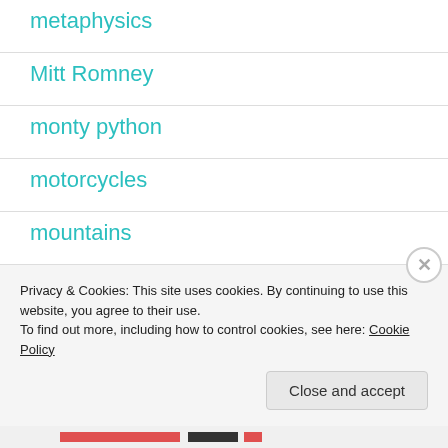metaphysics
Mitt Romney
monty python
motorcycles
mountains
movies
Privacy & Cookies: This site uses cookies. By continuing to use this website, you agree to their use.
To find out more, including how to control cookies, see here: Cookie Policy